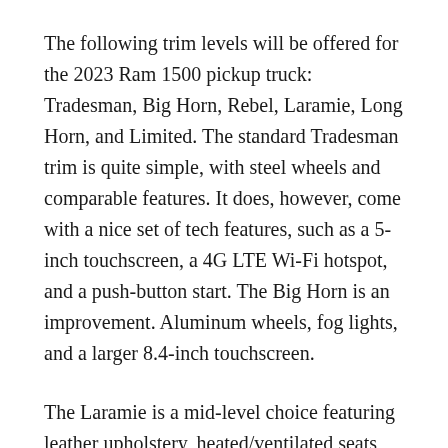The following trim levels will be offered for the 2023 Ram 1500 pickup truck: Tradesman, Big Horn, Rebel, Laramie, Long Horn, and Limited. The standard Tradesman trim is quite simple, with steel wheels and comparable features. It does, however, come with a nice set of tech features, such as a 5-inch touchscreen, a 4G LTE Wi-Fi hotspot, and a push-button start. The Big Horn is an improvement. Aluminum wheels, fog lights, and a larger 8.4-inch touchscreen.
The Laramie is a mid-level choice featuring leather upholstery, heated/ventilated seats with power adjustment. The Longhorn adds luxury features such as premium leather upholstery, bucket seats, wood accents, and much more. Finally, there's the Limited trim, which comes with...